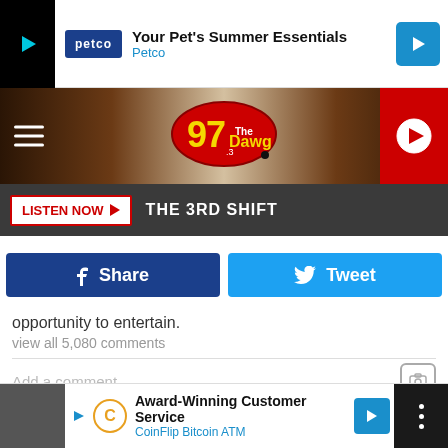[Figure (screenshot): Petco advertisement banner: Your Pet's Summer Essentials, Petco]
[Figure (logo): 97.3 The Dawg radio station logo and navigation bar with hamburger menu and play button]
LISTEN NOW ▶  THE 3RD SHIFT
[Figure (screenshot): Facebook Share and Twitter Tweet social sharing buttons]
opportunity to entertain.
view all 5,080 comments
Add a comment...
brother) Paulie celebrates a birthday. Flush with cash thanks to his successful boxing career, Rocky buys his pal an extravagant gift: An actual freaking robot.
[Figure (screenshot): CoinFlip Bitcoin ATM advertisement: Award-Winning Customer Service]